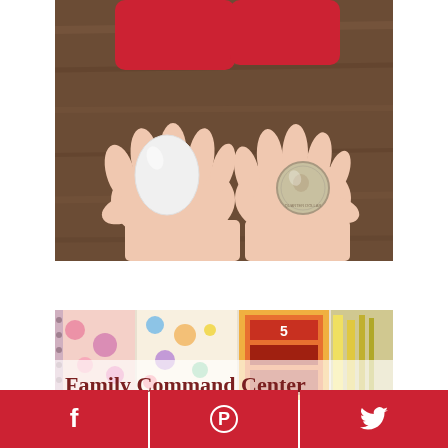[Figure (photo): Two hands cupped together, one holding a white egg and the other holding a quarter coin, placed on a wooden table background]
[Figure (photo): Partial image of colorful floral notebooks and stationery items with text overlay reading 'Family Command Center']
Social share buttons: Facebook, Pinterest, Twitter